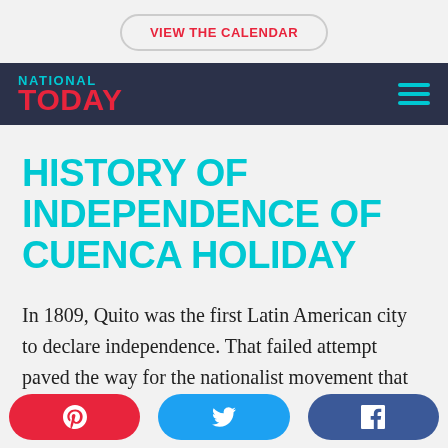VIEW THE CALENDAR
NATIONAL TODAY
HISTORY OF INDEPENDENCE OF CUENCA HOLIDAY
In 1809, Quito was the first Latin American city to declare independence. That failed attempt paved the way for the nationalist movement that would
Pinterest | Twitter | Facebook